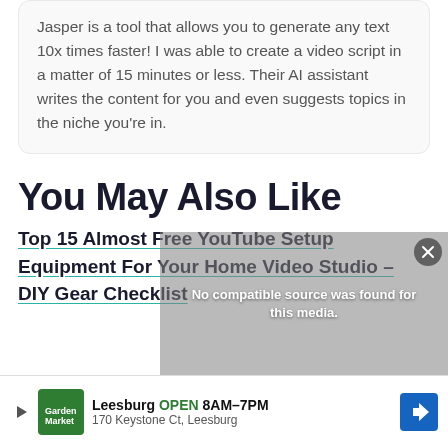Jasper is a tool that allows you to generate any text 10x times faster! I was able to create a video script in a matter of 15 minutes or less. Their AI assistant writes the content for you and even suggests topics in the niche you're in.
You May Also Like
Top 15 Almost Free YouTube Setup Equipment For Your Home Video Studio – DIY Gear Checklist